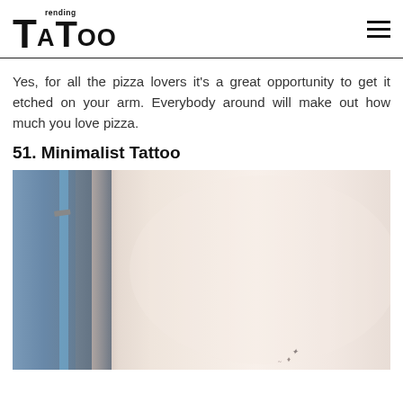Trending Tattoo
Yes, for all the pizza lovers it's a great opportunity to get it etched on your arm. Everybody around will make out how much you love pizza.
51. Minimalist Tattoo
[Figure (photo): Close-up photo of a person's arm with a small minimalist tattoo at the wrist, wearing a grey gloved hand and blue jeans visible on the left side]